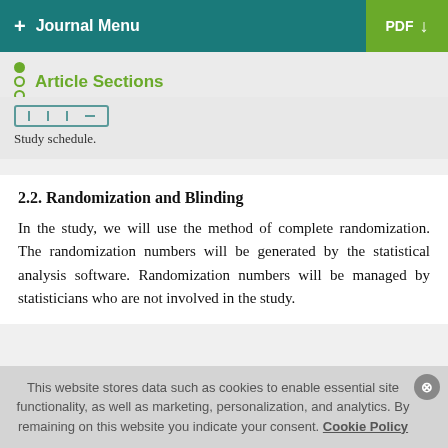+ Journal Menu | PDF
Article Sections
[Figure (other): Study schedule figure placeholder showing a partial schedule table/diagram]
Study schedule.
2.2. Randomization and Blinding
In the study, we will use the method of complete randomization. The randomization numbers will be generated by the statistical analysis software. Randomization numbers will be managed by statisticians who are not involved in the study.
This website stores data such as cookies to enable essential site functionality, as well as marketing, personalization, and analytics. By remaining on this website you indicate your consent. Cookie Policy